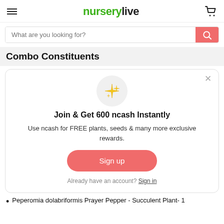nurserylive
Combo Constituents
[Figure (screenshot): Modal popup: sparkle icon, 'Join & Get 600 ncash Instantly', descriptive text, Sign up button, Sign in link]
Peperomia dolabriformis Prayer Pepper - Succulent Plant- 1